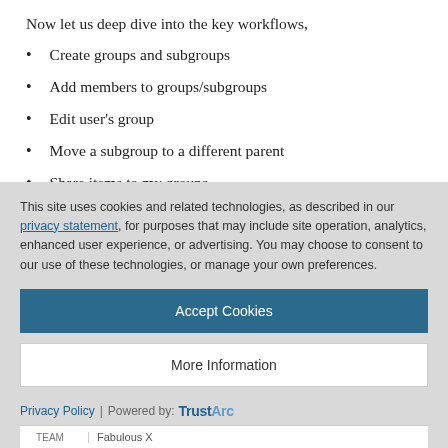Now let us deep dive into the key workflows,
Create groups and subgroups
Add members to groups/subgroups
Edit user’s group
Move a subgroup to a different parent
Share items to my groups
This site uses cookies and related technologies, as described in our privacy statement, for purposes that may include site operation, analytics, enhanced user experience, or advertising. You may choose to consent to our use of these technologies, or manage your own preferences.
Accept Cookies
More Information
Privacy Policy | Powered by: TrustArc | TEAM | Fabulous X